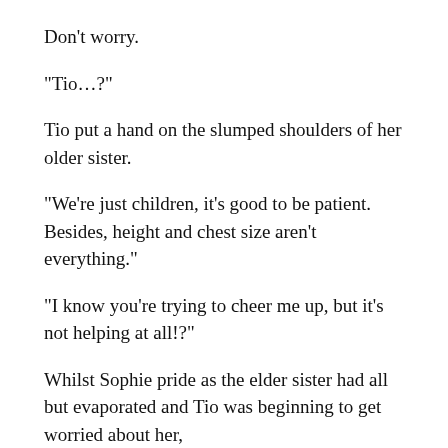Don't worry.
“Tio…?”
Tio put a hand on the slumped shoulders of her older sister.
“We’re just children, it’s good to be patient. Besides, height and chest size aren’t everything.”
“I know you’re trying to cheer me up, but it’s not helping at all!?”
Whilst Sophie pride as the elder sister had all but evaporated and Tio was beginning to get worried about her,
“U-U… children…”